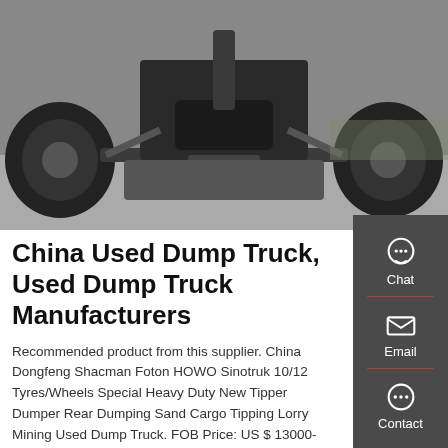[Figure (photo): Underside/rear view of a heavy duty dump truck chassis showing axles, tires, and frame components on a road surface]
China Used Dump Truck, Used Dump Truck Manufacturers
Recommended product from this supplier. China Dongfeng Shacman Foton HOWO Sinotruk 10/12 Tyres/Wheels Special Heavy Duty New Tipper Dumper Rear Dumping Sand Cargo Tipping Lorry Mining Used Dump Truck. FOB Price: US $ 13000-50000 / Piece. Min. Order: 1 Piece.
GET A QUOTE